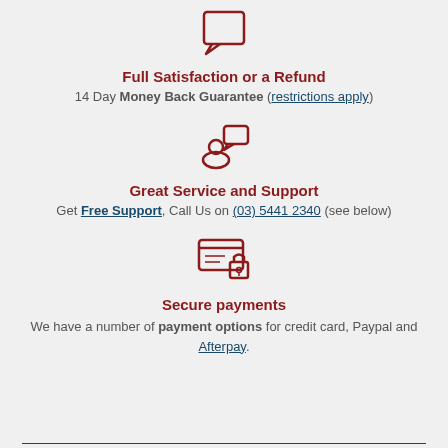[Figure (illustration): Chat bubble / speech bubble icon in dark red outline]
Full Satisfaction or a Refund
14 Day Money Back Guarantee (restrictions apply)
[Figure (illustration): Person with speech bubble icon in dark red outline]
Great Service and Support
Get Free Support, Call Us on (03) 5441 2340 (see below)
[Figure (illustration): Credit card with lock icon in dark red outline]
Secure payments
We have a number of payment options for credit card, Paypal and Afterpay.